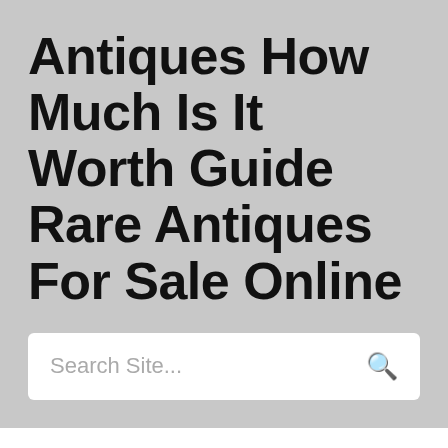Antiques How Much Is It Worth Guide Rare Antiques For Sale Online
Search Site...
Antiques